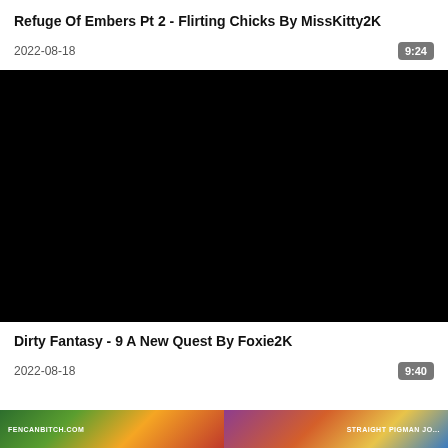Refuge Of Embers Pt 2 - Flirting Chicks By MissKitty2K
2022-08-18
9:24
[Figure (screenshot): Black video thumbnail placeholder]
Dirty Fantasy - 9 A New Quest By Foxie2K
2022-08-18
9:40
[Figure (photo): Partial colorful image strip at bottom of page with two sections]